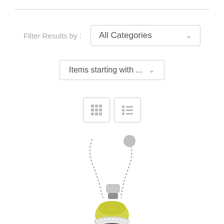Filter Results by :
All Categories
Items starting with ...
[Figure (screenshot): View toggle buttons: grid view and list view icons]
[Figure (photo): A bell-shaped jewelry pendant with yellow gold top and diamond-encrusted rim on a silver chain]